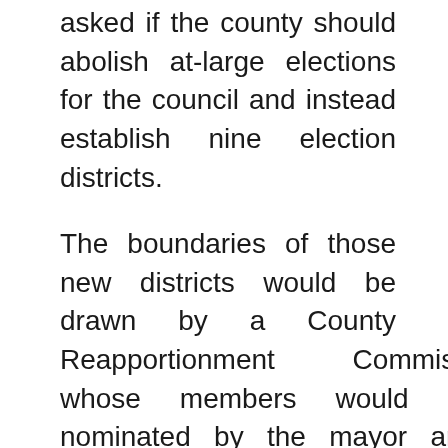asked if the county should abolish at-large elections for the council and instead establish nine election districts.
The boundaries of those new districts would be drawn by a County Reapportionment Commission, whose members would be nominated by the mayor and confirmed by the council.
Under the law, the county's population would need to be divided equally between the nine districts. That means smaller regions, like Lanai and Molokai, could not each have a district to themselves, but